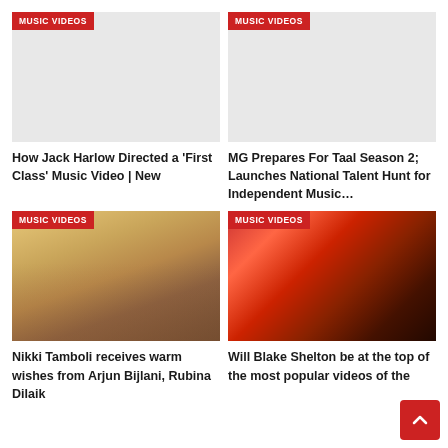[Figure (photo): Music video thumbnail placeholder - grey background with MUSIC VIDEOS badge]
How Jack Harlow Directed a ‘First Class’ Music Video | New
[Figure (photo): Music video thumbnail placeholder - grey background with MUSIC VIDEOS badge]
MG Prepares For Taal Season 2; Launches National Talent Hunt for Independent Music…
[Figure (photo): Photo of Nikki Tamboli with MUSIC VIDEOS badge overlay]
Nikki Tamboli receives warm wishes from Arjun Bijlani, Rubina Dilaik
[Figure (photo): Photo of Will Blake Shelton with MUSIC VIDEOS badge overlay]
Will Blake Shelton be at the top of the most popular videos of the